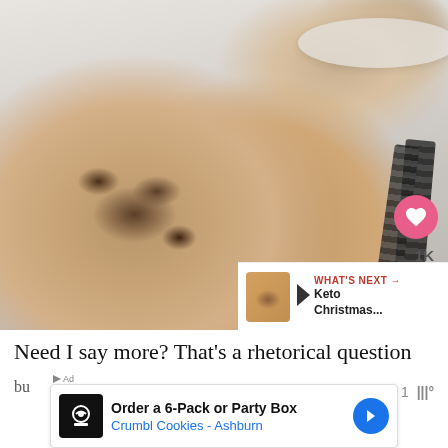[Figure (photo): Two oatmeal chocolate chip cookies on a white surface with more cookies on a plate in the background, and black decorative ribbon to the right. Heart button showing 1K likes and share button overlaid on right side. 'What's Next' thumbnail preview in bottom right corner.]
Need I say more? That's a rhetorical question
[Figure (other): Advertisement banner: Order a 6-Pack or Party Box / Crumbl Cookies - Ashburn]